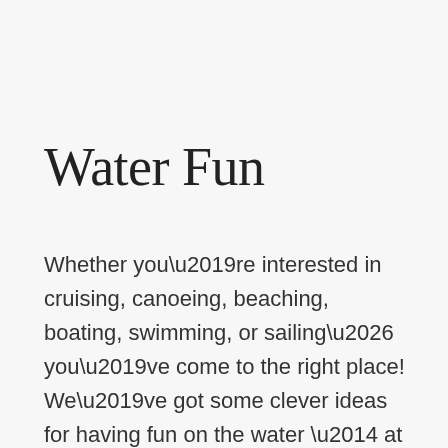Water Fun
Whether you’re interested in cruising, canoeing, beaching, boating, swimming, or sailing… you’ve come to the right place! We’ve got some clever ideas for having fun on the water — at home AND on vacation! Here are some fun ways to enjoy all